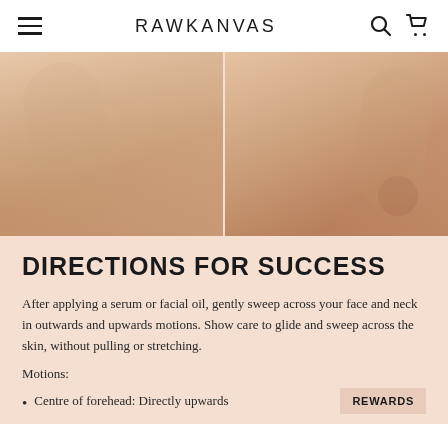RAWKANVAS
[Figure (photo): Two side-by-side close-up photos of hands being applied to skin on a neck/décolletage area, demonstrating a skincare massage technique on light skin tones, against a warm beige background.]
DIRECTIONS FOR SUCCESS
After applying a serum or facial oil, gently sweep across your face and neck in outwards and upwards motions. Show care to glide and sweep across the skin, without pulling or stretching.
Motions:
Centre of forehead: Directly upwards